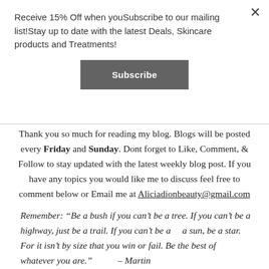Receive 15% Off when youSubscribe to our mailing list!Stay up to date with the latest Deals, Skincare products and Treatments!
[Figure (other): Subscribe button - dark grey rectangular button with white bold text reading 'Subscribe']
Thank you so much for reading my blog. Blogs will be posted every Friday and Sunday. Dont forget to Like, Comment, & Follow to stay updated with the latest weekly blog post. If you have any topics you would like me to discuss feel free to comment below or Email me at Aliciadionbeauty@gmail.com
Remember: “Be a bush if you can’t be a tree. If you can’t be a highway, just be a trail. If you can’t be a sun, be a star. For it isn’t by size that you win or fail. Be the best of whatever you are.” – Martin